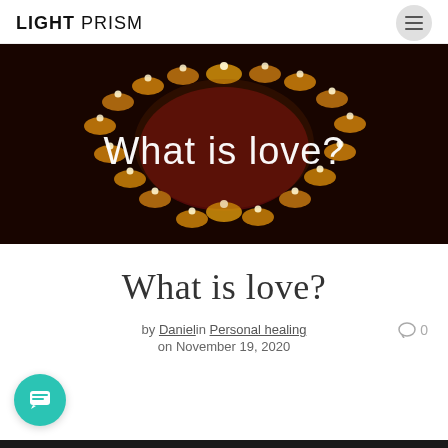LIGHT PRISM
[Figure (photo): Heart shape made of lit candles on a dark red background with the text 'What is love?' overlaid in white]
What is love?
by Daniel in Personal healing on November 19, 2020  ○ 0